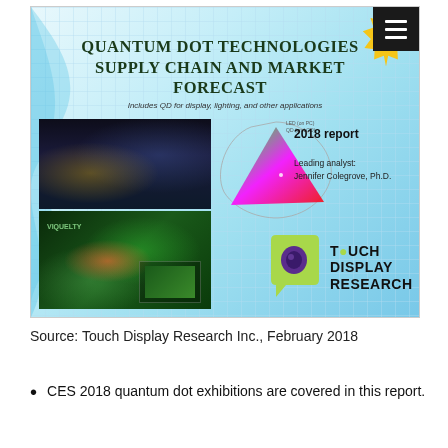[Figure (illustration): Cover page of 'Quantum Dot Technologies Supply Chain and Market Forecast' report by Touch Display Research Inc., 5th Edition, 2018. Features images of a car dashboard display, a color gamut triangle diagram, and a TV display. Includes Touch Display Research logo.]
Source: Touch Display Research Inc., February 2018
CES 2018 quantum dot exhibitions are covered in this report.